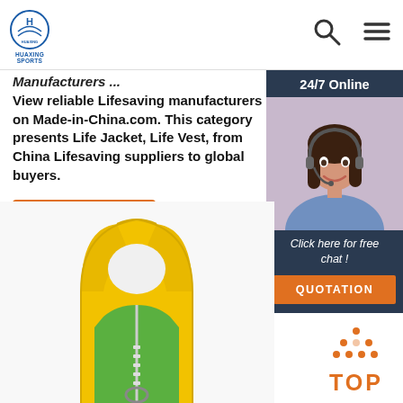HUAXING SPORTS [logo] — navigation header with search and menu icons
Manufacturers ...
View reliable Lifesaving manufacturers on Made-in-China.com. This category presents Life Jacket, Life Vest, from China Lifesaving suppliers to global buyers.
[Figure (other): Orange 'Get Price' button]
[Figure (other): 24/7 Online chat widget with agent photo, 'Click here for free chat!' text and orange QUOTATION button]
[Figure (photo): Yellow and green children's swim life vest jacket, viewed from back/front showing straps and zipper]
[Figure (other): Orange TOP back-to-top button with dot-triangle icon]